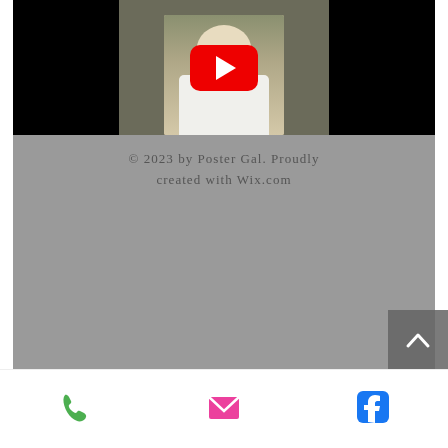[Figure (screenshot): YouTube video thumbnail showing a man with a camera at an outdoor event, with a YouTube play button overlay on a black background]
© 2023 by Poster Gal. Proudly created with Wix.com
[Figure (other): Back to top button with upward chevron arrow on grey background]
Phone icon, Email icon, Facebook icon